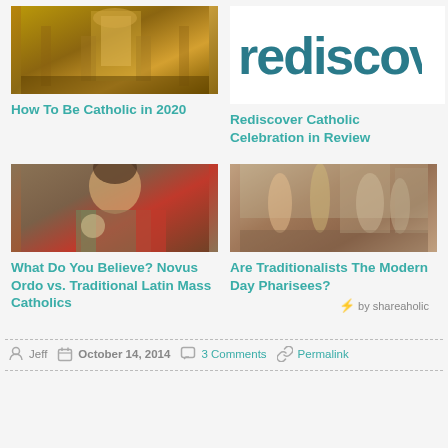[Figure (photo): Church interior with golden ornate decor]
How To Be Catholic in 2020
[Figure (photo): Rediscover text logo on white background]
Rediscover Catholic Celebration in Review
[Figure (photo): Painting of Jesus holding communion host]
What Do You Believe? Novus Ordo vs. Traditional Latin Mass Catholics
[Figure (photo): Classical painting of figures in a crowd scene]
Are Traditionalists The Modern Day Pharisees?
by shareaholic
Jeff   October 14, 2014   3 Comments   Permalink